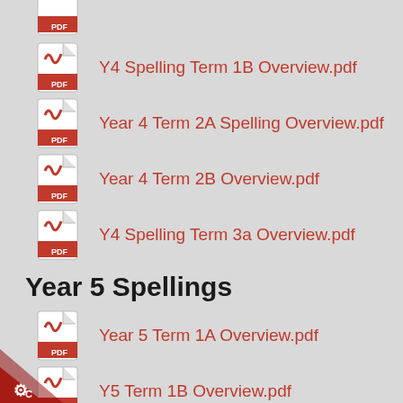Y4 Spelling Term 1B Overview.pdf
Year 4 Term 2A Spelling Overview.pdf
Year 4 Term 2B Overview.pdf
Y4 Spelling Term 3a Overview.pdf
Year 5 Spellings
Year 5 Term 1A Overview.pdf
Y5 Term 1B Overview.pdf
Year 5 Spelling Term 2A Overview.pdf
Year 5 Term 2B Spelling Overview.pdf